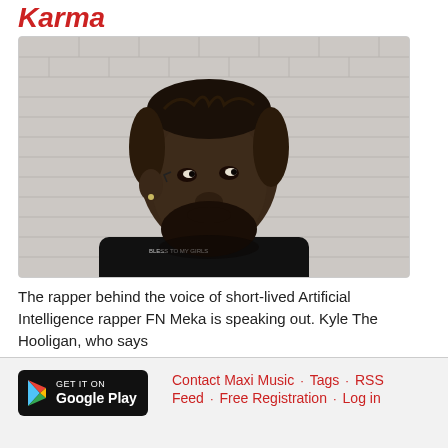Karma
[Figure (photo): A Black man with braided hair and a beard, wearing a black t-shirt with text on the collar, standing against a white brick wall, looking to the side.]
The rapper behind the voice of short-lived Artificial Intelligence rapper FN Meka is speaking out. Kyle The Hooligan, who says
Read more ...
GET IT ON Google Play · Contact Maxi Music · Tags · RSS Feed · Free Registration · Log in